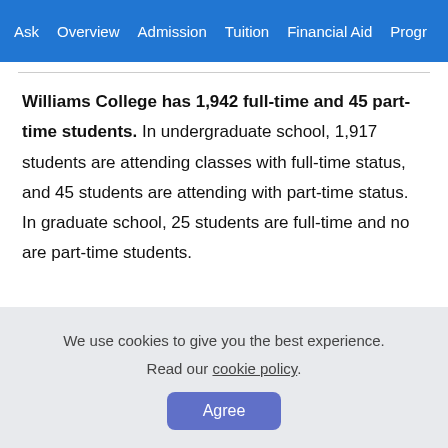Ask   Overview   Admission   Tuition   Financial Aid   Progr
Williams College has 1,942 full-time and 45 part-time students. In undergraduate school, 1,917 students are attending classes with full-time status, and 45 students are attending with part-time status. In graduate school, 25 students are full-time and no are part-time students.
We use cookies to give you the best experience. Read our cookie policy.